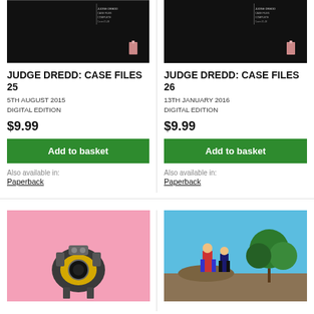[Figure (illustration): Judge Dredd Case Files 25 book cover — dark/black background with small figure and text]
JUDGE DREDD: CASE FILES 25
5TH AUGUST 2015
DIGITAL EDITION
$9.99
Add to basket
Also available in:
Paperback
[Figure (illustration): Judge Dredd Case Files 26 book cover — dark/black background with small figure and text]
JUDGE DREDD: CASE FILES 26
13TH JANUARY 2016
DIGITAL EDITION
$9.99
Add to basket
Also available in:
Paperback
[Figure (illustration): Comic book cover with pink background showing a mechanical/robotic character]
[Figure (illustration): Comic book cover with blue background showing two characters on a rock]